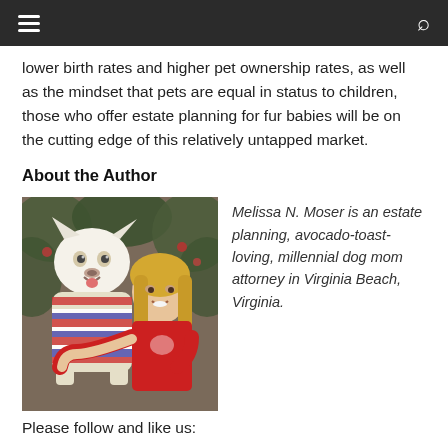☰  [navigation]  🔍
lower birth rates and higher pet ownership rates, as well as the mindset that pets are equal in status to children, those who offer estate planning for fur babies will be on the cutting edge of this relatively untapped market.
About the Author
[Figure (photo): Photo of Melissa N. Moser, a woman with long blonde hair wearing a red t-shirt, holding a white dog wearing a striped outfit. They are posing together outdoors with foliage in the background.]
Melissa N. Moser is an estate planning, avocado-toast-loving, millennial dog mom attorney in Virginia Beach, Virginia.
Please follow and like us: